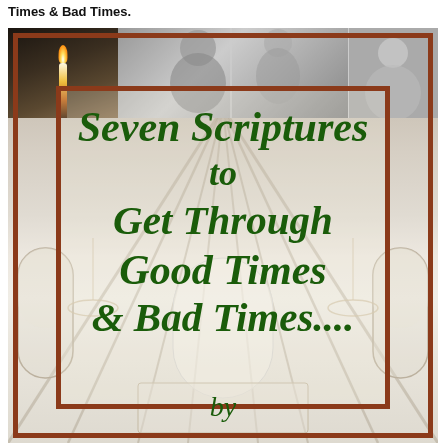Times & Bad Times.
[Figure (illustration): Book cover for 'Seven Scriptures to Get Through Good Times & Bad Times...' featuring a church interior background with a brown decorative border frame, and dark green italic script title text. A top collage strip shows a candle, black-and-white images of people, and a church scene. The main background shows a large church hall interior in muted tones.]
Seven Scriptures to Get Through Good Times & Bad Times....
by